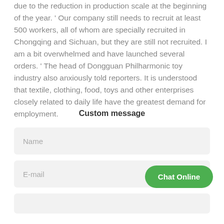due to the reduction in production scale at the beginning of the year. ' Our company still needs to recruit at least 500 workers, all of whom are specially recruited in Chongqing and Sichuan, but they are still not recruited. I am a bit overwhelmed and have launched several orders. ' The head of Dongguan Philharmonic toy industry also anxiously told reporters. It is understood that textile, clothing, food, toys and other enterprises closely related to daily life have the greatest demand for employment.
Custom message
Name
E-mail
Chat Online